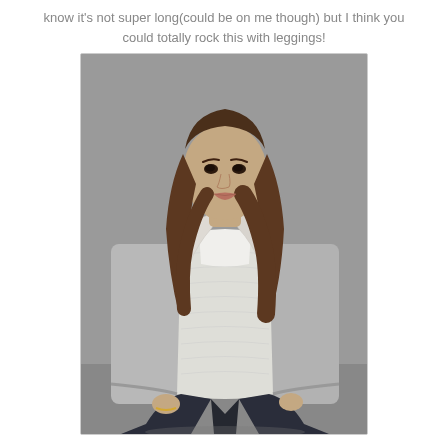know it's not super long(could be on me though) but I think you could totally rock this with leggings!
[Figure (photo): A woman with long brown hair wearing a light gray/cream open cardigan sweater over a white top and dark jeans, posed against a gray background.]